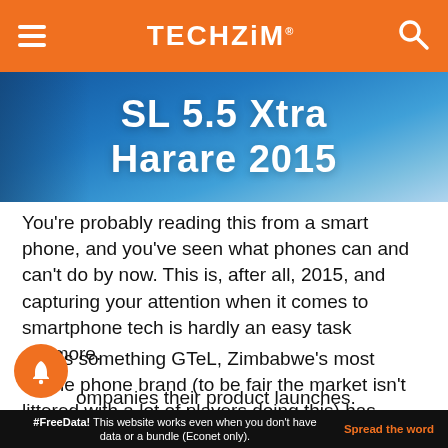TECHZiM
[Figure (photo): Hero image showing 'SL 5.5 Xtra Harare 2015' text on a blue background, product launch banner]
You’re probably reading this from a smart phone, and you’ve seen what phones can and can’t do by now. This is, after all, 2015, and capturing your attention when it comes to smartphone tech is hardly an easy task anymore.
That’s something GTeL, Zimbabwe’s most visible phone brand (to be fair the market isn’t littered with a lot of players doing this) has figured out. Which probably explains the effort behind the razzle-dazzle affair that accompanies their product launches.
#FreeData! This website works even when you don’t have data or a bundle (Econet only).